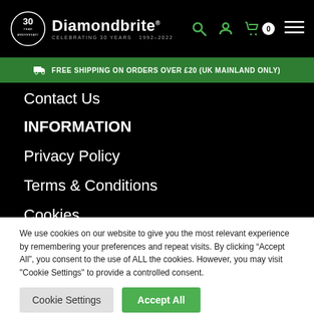Diamondbrite® — Celebrating 30 Years 1992–2022
FREE SHIPPING ON ORDERS OVER £20 (UK MAINLAND ONLY)
Contact Us
INFORMATION
Privacy Policy
Terms & Conditions
Cookies
Shipping & Deli…
We use cookies on our website to give you the most relevant experience by remembering your preferences and repeat visits. By clicking “Accept All”, you consent to the use of ALL the cookies. However, you may visit "Cookie Settings" to provide a controlled consent.
Cookie Settings  Accept All